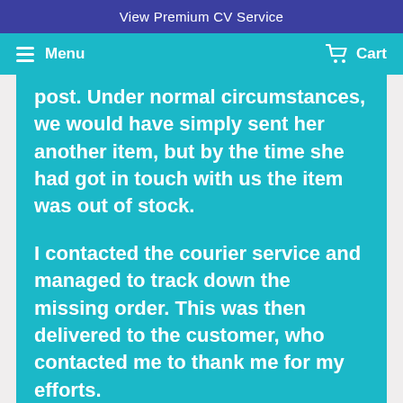View Premium CV Service
Menu  Cart
post. Under normal circumstances, we would have simply sent her another item, but by the time she had got in touch with us the item was out of stock.
I contacted the courier service and managed to track down the missing order. This was then delivered to the customer, who contacted me to thank me for my efforts.
5. Resolut...